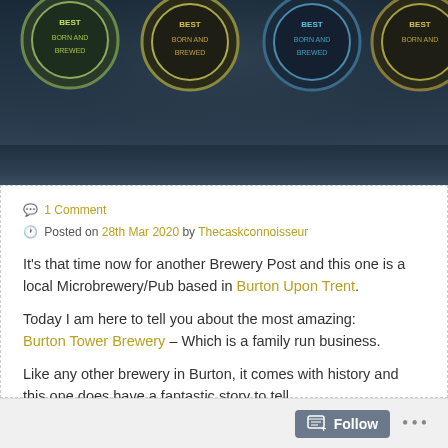[Figure (photo): Dark background header image showing four circular brewery/pub badges or logos partially visible at the top of the image, on a dark teal/slate gradient background.]
💬 1 Comment
🕐 Posted on 28th Mar 2020 by Thecaskconnoisseur
It's that time now for another Brewery Post and this one is a local Microbrewery/Pub based in Burton Upon Trent.
Today I am here to tell you about the most amazing: Burton Tower Brewery – Which is a family run business.
Like any other brewery in Burton, it comes with history and this one does have a fantastic story to tell.
Follow ...